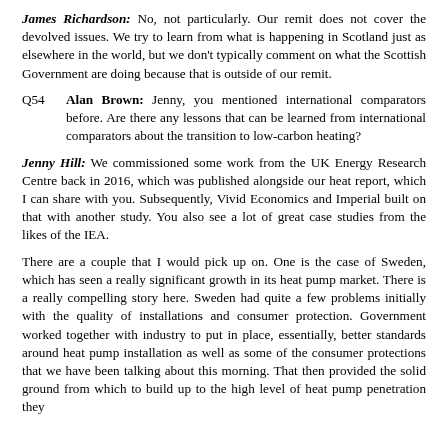James Richardson: No, not particularly. Our remit does not cover the devolved issues. We try to learn from what is happening in Scotland just as elsewhere in the world, but we don't typically comment on what the Scottish Government are doing because that is outside of our remit.
Q54  Alan Brown: Jenny, you mentioned international comparators before. Are there any lessons that can be learned from international comparators about the transition to low-carbon heating?
Jenny Hill: We commissioned some work from the UK Energy Research Centre back in 2016, which was published alongside our heat report, which I can share with you. Subsequently, Vivid Economics and Imperial built on that with another study. You also see a lot of great case studies from the likes of the IEA.
There are a couple that I would pick up on. One is the case of Sweden, which has seen a really significant growth in its heat pump market. There is a really compelling story here. Sweden had quite a few problems initially with the quality of installations and consumer protection. Government worked together with industry to put in place, essentially, better standards around heat pump installation as well as some of the consumer protections that we have been talking about this morning. That then provided the solid ground from which to build up to the high level of heat pump penetration they